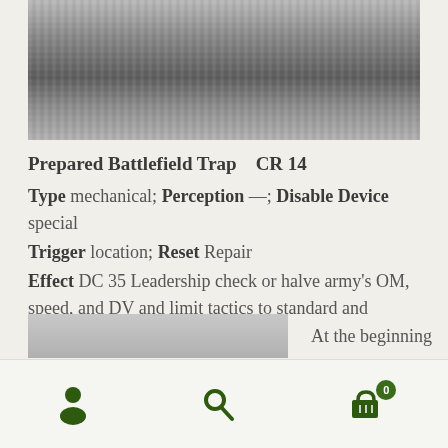[Figure (photo): Grayscale textured image, appears to be a battlefield or terrain photo with dark and light streaks]
Prepared Battlefield Trap    CR 14
Type mechanical; Perception —; Disable Device special
Trigger location; Reset Repair
Effect DC 35 Leadership check or halve army's OM, speed, and DV and limit tactics to standard and withdraw
At the beginning